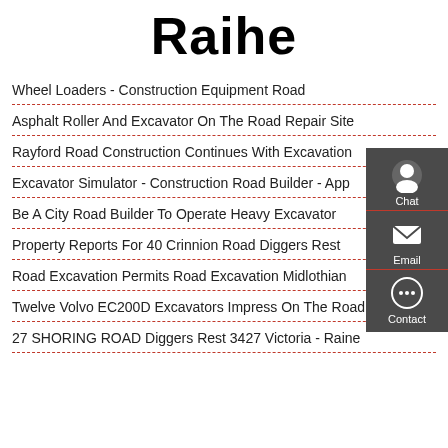Raihe
Wheel Loaders - Construction Equipment Road
Asphalt Roller And Excavator On The Road Repair Site
Rayford Road Construction Continues With Excavation
Excavator Simulator - Construction Road Builder - App
Be A City Road Builder To Operate Heavy Excavator
Property Reports For 40 Crinnion Road Diggers Rest
Road Excavation Permits Road Excavation Midlothian
Twelve Volvo EC200D Excavators Impress On The Road
27 SHORING ROAD Diggers Rest 3427 Victoria - Raine